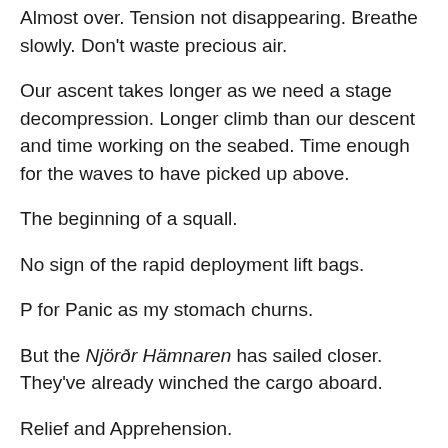Almost over. Tension not disappearing. Breathe slowly. Don't waste precious air.
Our ascent takes longer as we need a stage decompression. Longer climb than our descent and time working on the seabed. Time enough for the waves to have picked up above.
The beginning of a squall.
No sign of the rapid deployment lift bags.
P for Panic as my stomach churns.
But the Njörðr Hämnaren has sailed closer. They've already winched the cargo aboard.
Relief and Apprehension.
We take off our tanks to simplify our return journey.